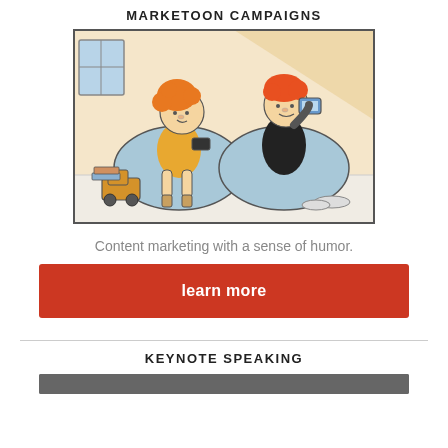MARKETOON CAMPAIGNS
[Figure (illustration): Cartoon illustration of two children sitting on bean bag chairs, each looking at handheld devices/phones. One child has curly orange hair and an orange shirt, the other has red-orange hair and a black shirt. A toy truck is visible on the floor to the left.]
Content marketing with a sense of humor.
learn more
KEYNOTE SPEAKING